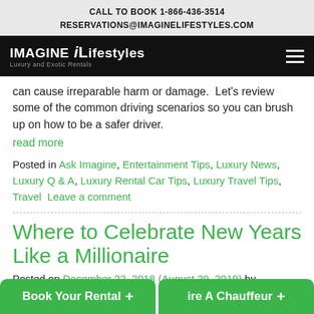CALL TO BOOK 1-866-436-3514
RESERVATIONS@IMAGINELIFESTYLES.COM
[Figure (logo): Imagine Lifestyles logo on black navigation bar with hamburger menu icon]
can cause irreparable harm or damage.  Let's review some of the common driving scenarios so you can brush up on how to be a safer driver.
read more
Posted in Ask Imagine, Entertainment Tips, Luxury News, Luxury Q & A, Luxury Rental Car Tips, Luxury Travel Tips, Travel  Leave a comment
Where to Celebrate New Years Like a Millionaire
Posted on December 22, 2018 (August 29, 2019) by
Book Your Rental +   ire A Chauffeur +